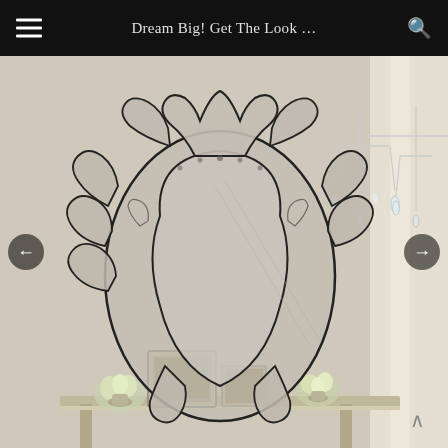Dream Big! Get The Look …
[Figure (photo): Large ornate Venetian mirror with baroque scrollwork frame, reflecting a crystal chandelier. In front sits a console table with framed photos and yellow flowers. Sheer curtains visible in the background.]
← (previous navigation arrow)
→ (next navigation arrow)
∧ (scroll up button)